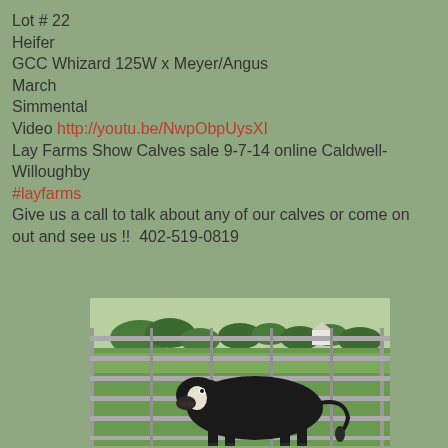Lot # 22
Heifer
GCC Whizard 125W x Meyer/Angus
March
Simmental
Video http://youtu.be/NwpObpUysXI
Lay Farms Show Calves sale 9-7-14 online Caldwell-Willoughby
#layfarms
Give us a call to talk about any of our calves or come on out and see us !!  402-519-0819
[Figure (photo): A black heifer calf with a white face marking standing in a farm pen with metal rail fencing, green pasture and trees visible in the background]